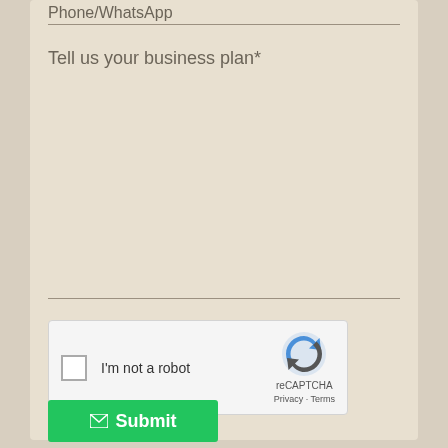Phone/WhatsApp
Tell us your business plan*
[Figure (other): reCAPTCHA widget with checkbox, 'I'm not a robot' text, reCAPTCHA logo, Privacy and Terms links]
Submit